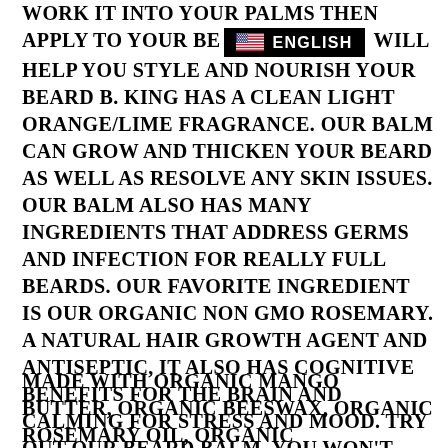WORK IT INTO YOUR PALMS THEN APPLY TO YOUR BEARD. [ENGLISH badge] WILL HELP YOU STYLE AND NOURISH YOUR BEARD B. KING HAS A CLEAN LIGHT ORANGE/LIME FRAGRANCE. OUR BALM CAN GROW AND THICKEN YOUR BEARD AS WELL AS RESOLVE ANY SKIN ISSUES. OUR BALM ALSO HAS MANY INGREDIENTS THAT ADDRESS GERMS AND INFECTION FOR REALLY FULL BEARDS. OUR FAVORITE INGREDIENT IS OUR ORGANIC NON GMO ROSEMARY. A NATURAL HAIR GROWTH AGENT AND ANTISEPTIC, IT ALSO HAS COGNITIVE BENEFITS FOR THE BRAIN AND CALMING FOR STRESS AND MOOD. TRY OUT OUR BEARD BALM, YOU WON'T EVER GO BACK!
MADE WITH ORGANIC MANGO BUTTER, ORGANIC BEESWAX, ORGANIC ROSEMARY OIL, ORGANIC FENUGREEK, ORGANIC ANISE SEED, ORGANIC GRAPESEED OIL, ORGANIC CASTOR OIL